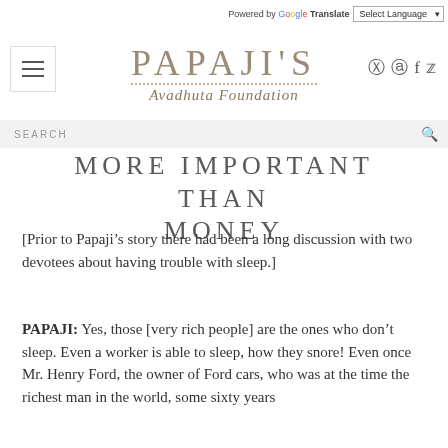Powered by Google Translate | Select Language
PAPAJI'S Avadhuta Foundation
SEARCH
MORE IMPORTANT THAN MONEY
[Prior to Papaji’s story there had been a long discussion with two devotees about having trouble with sleep.]
PAPAJI: Yes, those [very rich people] are the ones who don’t sleep. Even a worker is able to sleep, how they snore! Even once Mr. Henry Ford, the owner of Ford cars, who was at the time the richest man in the world, some sixty years